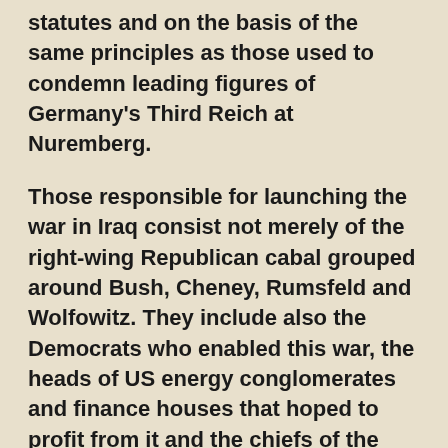statutes and on the basis of the same principles as those used to condemn leading figures of Germany's Third Reich at Nuremberg.
Those responsible for launching the war in Iraq consist not merely of the right-wing Republican cabal grouped around Bush, Cheney, Rumsfeld and Wolfowitz. They include also the Democrats who enabled this war, the heads of US energy conglomerates and finance houses that hoped to profit from it and the chiefs of the media monopolies that promoted it. All of these layers, constituting the political establishment and financial aristocracy of the United States, are guilty of the same fundamental crime for which the Nazis were prosecuted nearly 60 years ago: the plotting and waging of a war of aggression. It is from this